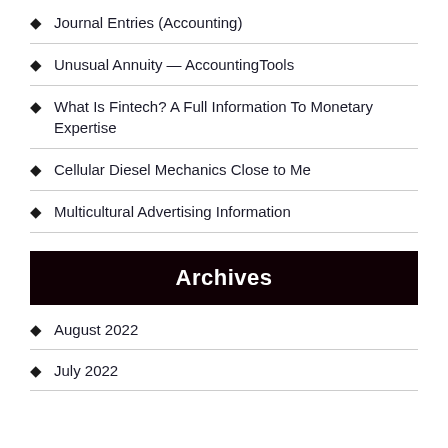Journal Entries (Accounting)
Unusual Annuity — AccountingTools
What Is Fintech? A Full Information To Monetary Expertise
Cellular Diesel Mechanics Close to Me
Multicultural Advertising Information
Archives
August 2022
July 2022